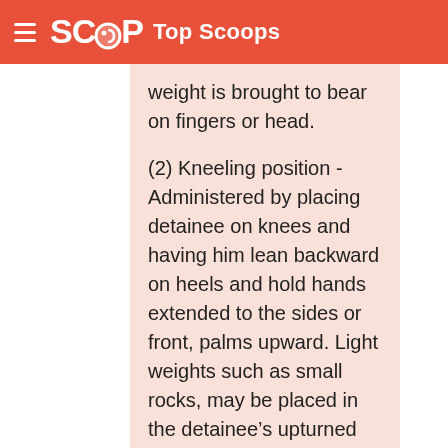SCOOP Top Scoops
weight is brought to bear on fingers or head.
(2) Kneeling position - Administered by placing detainee on knees and having him lean backward on heels and hold hands extended to the sides or front, palms upward. Light weights such as small rocks, may be placed in the detainee’s upturned